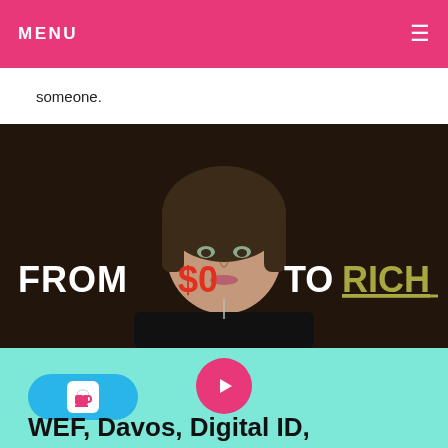MENU ≡
someone.
[Figure (photo): Woman with short brown hair against dark background, with overlay text reading 'FROM $0 TO RICH']
[Figure (infographic): Teal/mint background with pink play button circle in center, Ko-fi badge on left, and partial title text 'WEF, Davos, Digital ID,' at bottom]
WEF, Davos, Digital ID,